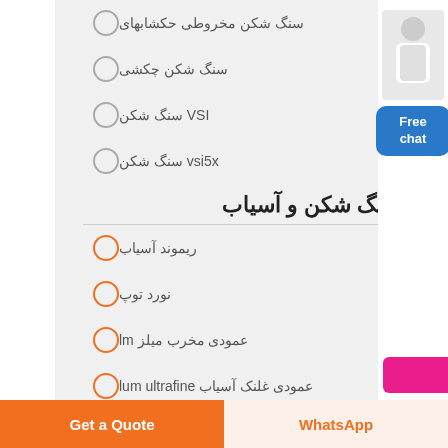سنگ شکن مخروطی حکشابهای
سنگ شکن چکشی
VSI سنگ شکن
vsi5x سنگ شکن
سنگ شکن و آسیاب
ریموند آسیاب
نورد توپ
عمودی مخرب میلز lm
عمودی غلنک آسیاب lum ultrafine
چرخ mtm trapezium
دستگاه فرز mtw